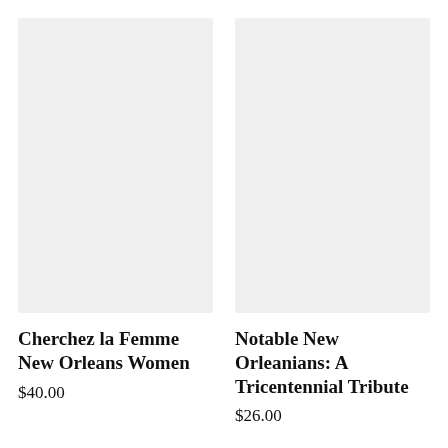[Figure (illustration): Book cover placeholder — light gray rectangle for Cherchez la Femme New Orleans Women]
Cherchez la Femme New Orleans Women
$40.00
[Figure (illustration): Book cover placeholder — light gray rectangle for Notable New Orleanians: A Tricentennial Tribute]
Notable New Orleanians: A Tricentennial Tribute
$26.00
[Figure (illustration): Book cover placeholder — light gray rectangle (partially visible, bottom-left)]
[Figure (illustration): Book cover placeholder — light gray rectangle (partially visible, bottom-right)]